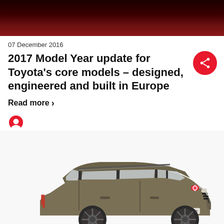[Figure (photo): Dark red/black gradient hero banner image at top of page]
07 December 2016
2017 Model Year update for Toyota's core models – designed, engineered and built in Europe
Read more ›
[Figure (photo): Toyota Auris Hybrid Touring Sports station wagon in metallic bronze/olive color, side three-quarter front view on white background]